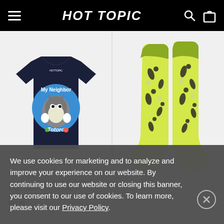HOT TOPIC
[Figure (photo): My Neighbor Totoro t-shirt on dark navy background with Totoro graphic and circular blue design]
[Figure (photo): Yellow knee-high socks with black floral and Totoro pattern, two socks displayed]
Our Universe Studio Ghibli My Neighbor Totoro Shi... $23.90
We use cookies for marketing and to analyze and improve your experience on our website. By continuing to use our website or closing this banner, you consent to our use of cookies. To learn more, please visit our Privacy Policy.
1 / 6 >